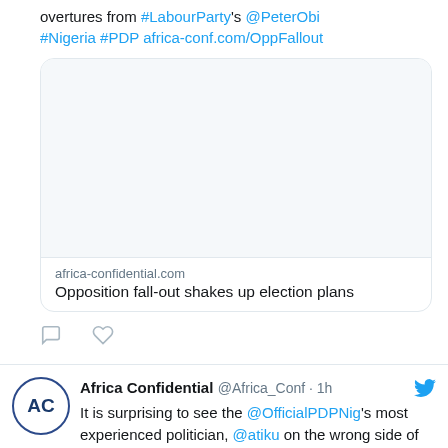overtures from #LabourParty's @PeterObi #Nigeria #PDP africa-conf.com/OppFallout
[Figure (screenshot): Link preview card showing a blank white image area and below it the domain 'africa-confidential.com' and title 'Opposition fall-out shakes up election plans']
africa-confidential.com
Opposition fall-out shakes up election plans
[Figure (other): Tweet action icons: comment bubble and heart]
Africa Confidential @Africa_Conf · 1h
It is surprising to see the @OfficialPDPNig's most experienced politician, @atiku on the wrong side of factional rivalries within the party,